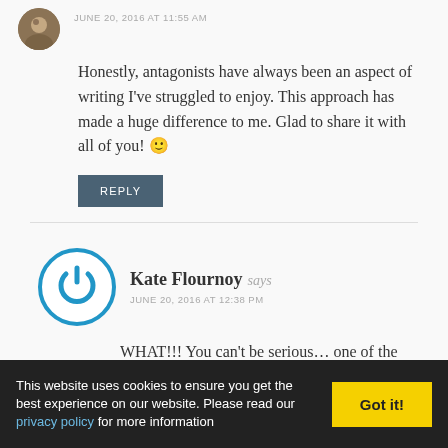JUNE 20, 2016 AT 11:55 AM
Honestly, antagonists have always been an aspect of writing I've struggled to enjoy. This approach has made a huge difference to me. Glad to share it with all of you! 🙂
REPLY
Kate Flournoy says
JUNE 20, 2016 AT 12:38 PM
WHAT!!! You can't be serious… one of the absolute best things for me about writing is getting to work with so many
This website uses cookies to ensure you get the best experience on our website. Please read our privacy policy for more information
Got it!